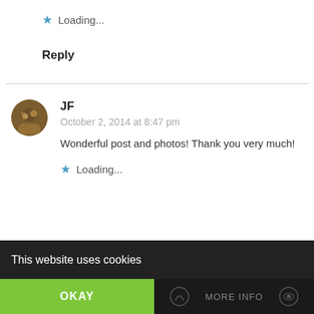★ Loading...
Reply
JF
October 2, 2014 at 8:47 pm
Wonderful post and photos! Thank you very much!
★ Loading...
This website uses cookies
OKAY  MORE INFO